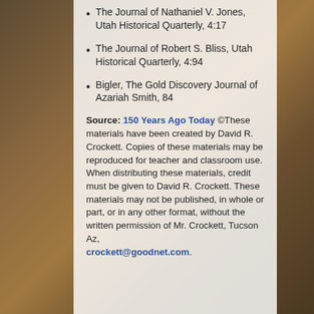The Journal of Nathaniel V. Jones, Utah Historical Quarterly, 4:17
The Journal of Robert S. Bliss, Utah Historical Quarterly, 4:94
Bigler, The Gold Discovery Journal of Azariah Smith, 84
Source: 150 Years Ago Today ©These materials have been created by David R. Crockett. Copies of these materials may be reproduced for teacher and classroom use. When distributing these materials, credit must be given to David R. Crockett. These materials may not be published, in whole or part, or in any other format, without the written permission of Mr. Crockett, Tucson Az, crockett@goodnet.com.